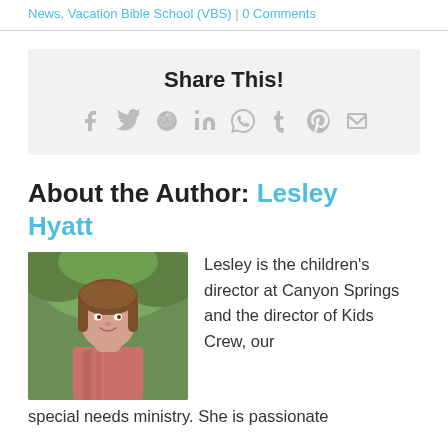News, Vacation Bible School (VBS) | 0 Comments
Share This!
[Figure (infographic): Social share icons: Facebook, Twitter, Reddit, LinkedIn, WhatsApp, Tumblr, Pinterest, Email]
About the Author: Lesley Hyatt
[Figure (photo): Photo of Lesley Hyatt, a woman with brown hair outdoors with green foliage background]
Lesley is the children's director at Canyon Springs and the director of Kids Crew, our special needs ministry. She is passionate